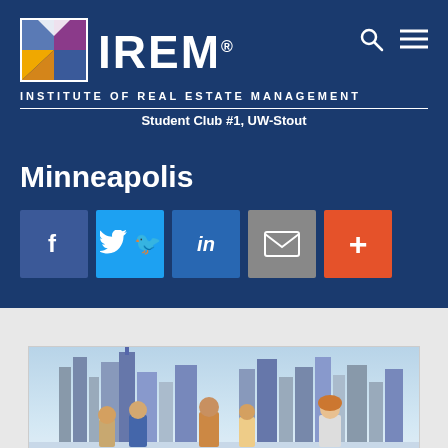[Figure (logo): IREM logo with colored geometric shapes (yellow, gold, purple, dark blue triangles forming a house/building shape)]
INSTITUTE OF REAL ESTATE MANAGEMENT
Student Club #1, UW-Stout
Minneapolis
[Figure (infographic): Social media sharing buttons: Facebook (blue), Twitter (light blue), LinkedIn (dark blue), Email (gray), More/+ (orange-red)]
[Figure (photo): Group of students in front of Minneapolis city skyline]